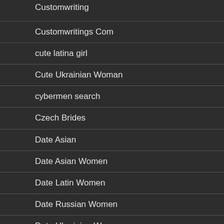Customwriting
Customwritings Com
cute latina girl
Cute Ukrainian Woman
cybermen search
Czech Brides
Date Asian
Date Asian Women
Date Latin Women
Date Russian Women
Date Ukrainian Women
Date Site...